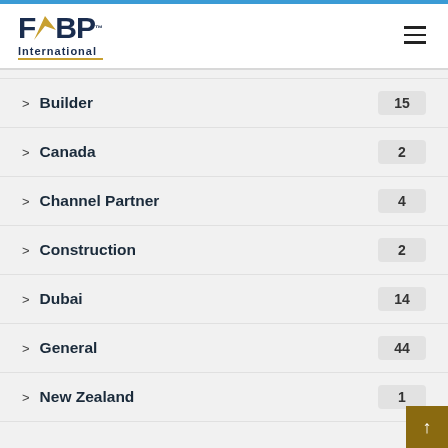[Figure (logo): FBP International logo with stylized arrow between F and BP, yellow underline beneath 'International']
Builder 15
Canada 2
Channel Partner 4
Construction 2
Dubai 14
General 44
New Zealand 1